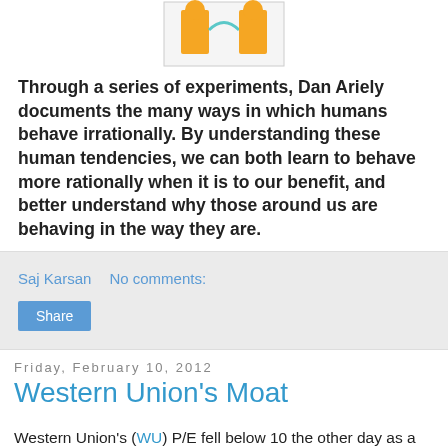[Figure (illustration): Book cover illustration showing orange figures]
Through a series of experiments, Dan Ariely documents the many ways in which humans behave irrationally. By understanding these human tendencies, we can both learn to behave more rationally when it is to our benefit, and better understand why those around us are behaving in the way they are.
Saj Karsan   No comments:
Share
Friday, February 10, 2012
Western Union's Moat
Western Union's (WU) P/E fell below 10 the other day as a weaker than expected outlook resulted in a share price fall of almost 10%. The stock now trades some 30% lower than it did in 2008 even though the company's profits are higher now than they were then as the company has clearly